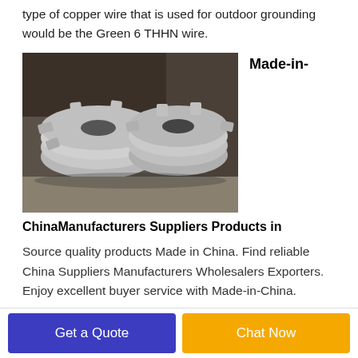type of copper wire that is used for outdoor grounding would be the Green 6 THHN wire.
[Figure (photo): Photo of stacked metal gear-like industrial parts (sprockets or similar cast metal components) on a concrete surface]
Made-in-
ChinaManufacturers Suppliers Products in
Source quality products Made in China. Find reliable China Suppliers Manufacturers Wholesalers Exporters. Enjoy excellent buyer service with Made-in-China.
Get a Quote
Chat Now